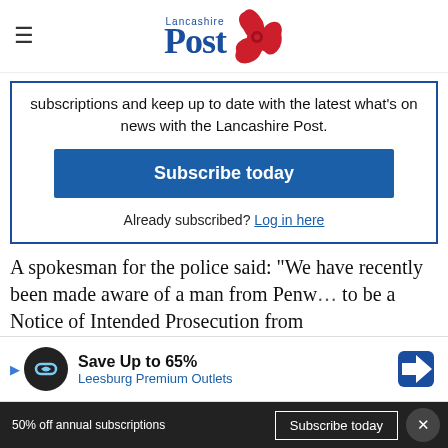Lancashire Post
subscriptions and keep up to date with the latest what's on news with the Lancashire Post.
Subscribe today
Already subscribed? Log in here
A spokesman for the police said: "We have recently been made aware of a man from Penw... to be a Notice of Intended Prosecution from
[Figure (other): Advertisement banner: Save Up to 65% Leesburg Premium Outlets with logo and navigation icon]
50% off annual subscriptions   Subscribe today